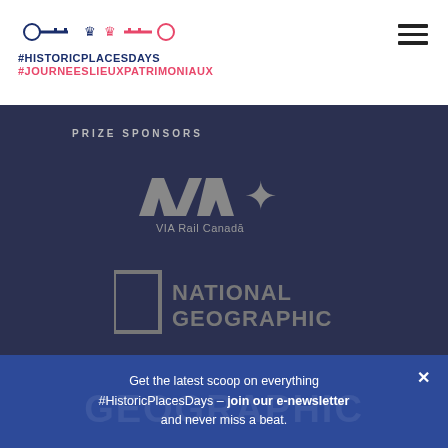#HISTORICPLACESDAYS #JOURNEESLIEUXPATRIMONIAUX
PRIZE SPONSORS
[Figure (logo): VIA Rail Canada logo in grey on dark background]
[Figure (logo): National Geographic logo in grey on dark background]
Get the latest scoop on everything #HistoricPlacesDays – join our e-newsletter and never miss a beat.